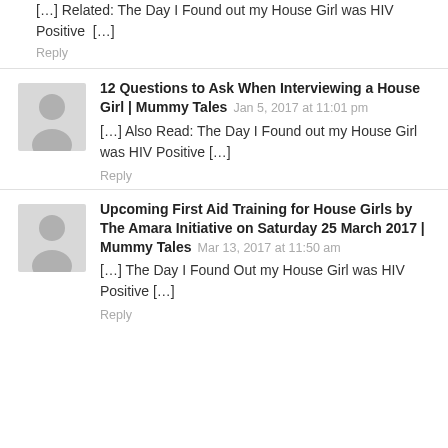[…] Related: The Day I Found out my House Girl was HIV Positive  […]
Reply
12 Questions to Ask When Interviewing a House Girl | Mummy Tales   Jan 5, 2017 at 11:01 pm
[…] Also Read: The Day I Found out my House Girl was HIV Positive […]
Reply
Upcoming First Aid Training for House Girls by The Amara Initiative on Saturday 25 March 2017 | Mummy Tales   Mar 13, 2017 at 11:50 am
[…] The Day I Found Out my House Girl was HIV Positive […]
Reply